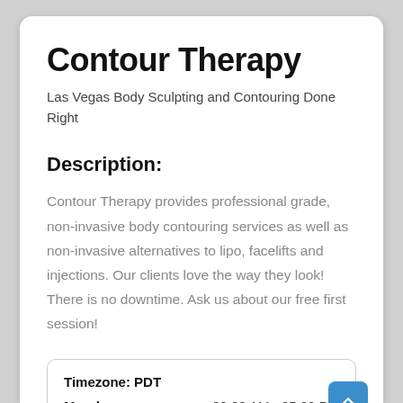Contour Therapy
Las Vegas Body Sculpting and Contouring Done Right
Description:
Contour Therapy provides professional grade, non-invasive body contouring services as well as non-invasive alternatives to lipo, facelifts and injections. Our clients love the way they look! There is no downtime. Ask us about our free first session!
| Timezone: PDT |  |
| --- | --- |
| Monday | 09:00 AM - 05:00 PM |